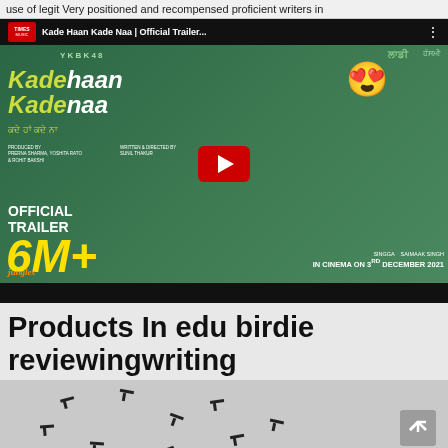use of legit Very positioned and recompensed proficient writers in
[Figure (screenshot): YouTube video thumbnail for 'Kade Haan Kade Naa | Official Trailer' by Times Music. Shows a Punjabi movie trailer thumbnail with 6M+ views count, IN CINEMA ON 3RD DECEMBER 2021, featuring two actors and movie title text in green and yellow. A red YouTube play button is centered on the thumbnail.]
Products In edu birdie reviewingwriting
[Figure (photo): Bottom portion of an image showing scattered black graduation caps (mortarboards) on a light grey background, with a scroll-to-top arrow button on the right side.]